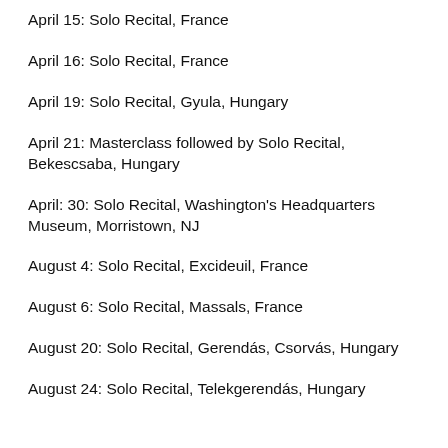April 15: Solo Recital, France
April 16: Solo Recital, France
April 19: Solo Recital, Gyula, Hungary
April 21: Masterclass followed by Solo Recital, Bekescsaba, Hungary
April: 30: Solo Recital, Washington's Headquarters Museum, Morristown, NJ
August 4: Solo Recital, Excideuil, France
August 6: Solo Recital, Massals, France
August 20: Solo Recital, Gerendás, Csorvás, Hungary
August 24: Solo Recital, Telekgerendás, Hungary